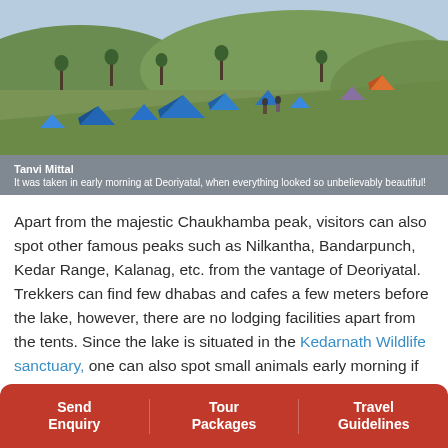[Figure (photo): Aerial view of a campsite at Deoriyatal with multiple blue tents on green hillside, trees scattered, people walking, morning light]
Tanvi Mittal
It was taken in early morning at Deoriyatal, when everything looked so unbelievably beautiful!
Apart from the majestic Chaukhamba peak, visitors can also spot other famous peaks such as Nilkantha, Bandarpunch, Kedar Range, Kalanag, etc. from the vantage of Deoriyatal. Trekkers can find few dhabas and cafes a few meters before the lake, however, there are no lodging facilities apart from the tents. Since the lake is situated in the Kedarnath Wildlife sanctuary, one can also spot small animals early morning if they are lucky. It comes as no surprise that Deoriyatal is o... destinations in...
Send Enquiry  Tour Packages  Travel Guidelines